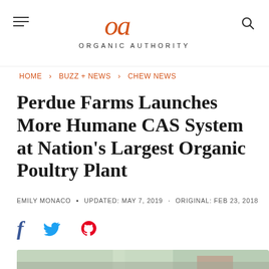oa ORGANIC AUTHORITY
HOME › BUZZ + NEWS › CHEW NEWS
Perdue Farms Launches More Humane CAS System at Nation's Largest Organic Poultry Plant
EMILY MONACO • UPDATED: MAY 7, 2019 · ORIGINAL: FEB 23, 2018
[Figure (illustration): Social share icons: Facebook (f), Twitter (bird), Pinterest (P)]
[Figure (photo): Blurred photo of a poultry processing facility interior, partially visible at bottom of page]